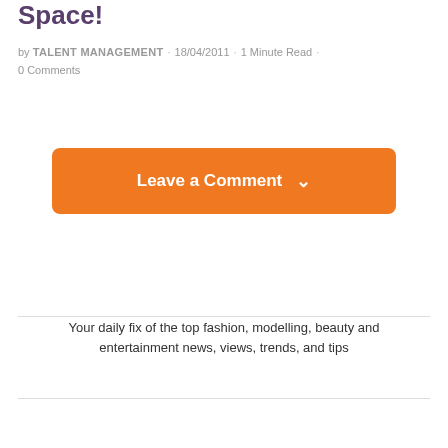Space!
by TALENT MANAGEMENT · 18/04/2011 · 1 MINUTE READ · 0 COMMENTS
[Figure (other): Orange rounded button with text 'Leave a Comment' and a chevron/down arrow icon]
Your daily fix of the top fashion, modelling, beauty and entertainment news, views, trends, and tips